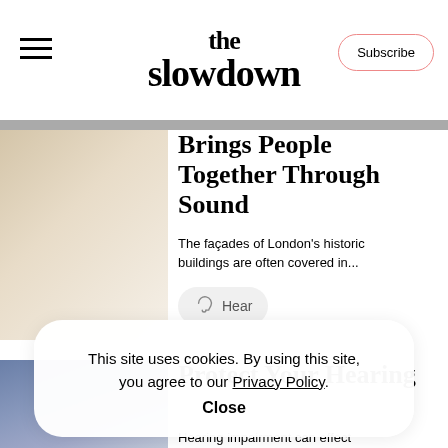the slowdown | Subscribe
Brings People Together Through Sound
The façades of London's historic buildings are often covered in...
[Figure (illustration): Warm beige gradient thumbnail image for first article]
Hear
[Figure (illustration): Blue gradient thumbnail image for second article]
Protect Your Hearing
This site uses cookies. By using this site, you agree to our Privacy Policy.
Close
Hearing impairment can effect